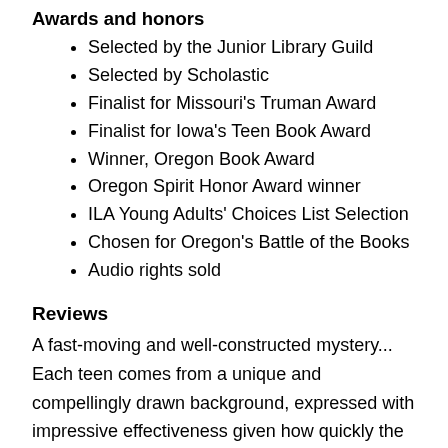Awards and honors
Selected by the Junior Library Guild
Selected by Scholastic
Finalist for Missouri's Truman Award
Finalist for Iowa's Teen Book Award
Winner, Oregon Book Award
Oregon Spirit Honor Award winner
ILA Young Adults' Choices List Selection
Chosen for Oregon's Battle of the Books
Audio rights sold
Reviews
A fast-moving and well-constructed mystery... Each teen comes from a unique and compellingly drawn background, expressed with impressive effectiveness given how quickly the plot moves. Nick, whose father died